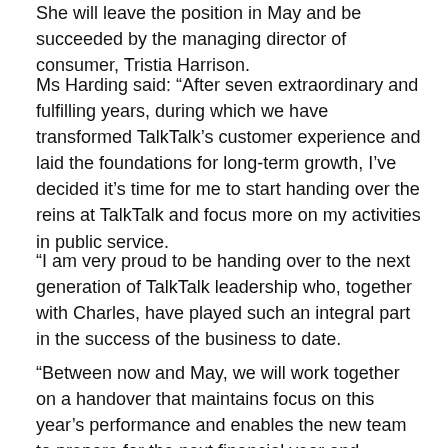She will leave the position in May and be succeeded by the managing director of consumer, Tristia Harrison.
Ms Harding said: “After seven extraordinary and fulfilling years, during which we have transformed TalkTalk’s customer experience and laid the foundations for long-term growth, I’ve decided it’s time for me to start handing over the reins at TalkTalk and focus more on my activities in public service.
“I am very proud to be handing over to the next generation of TalkTalk leadership who, together with Charles, have played such an integral part in the success of the business to date.
“Between now and May, we will work together on a handover that maintains focus on this year’s performance and enables the new team to prepare for the next financial year and beyond.”